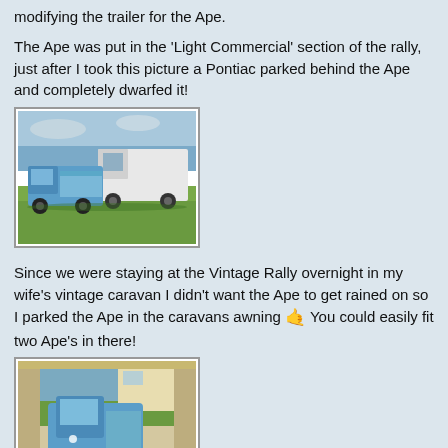modifying the trailer for the Ape.
The Ape was put in the 'Light Commercial' section of the rally, just after I took this picture a Pontiac parked behind the Ape and completely dwarfed it!
[Figure (photo): A small blue Piaggio Ape three-wheeled vehicle parked on grass at a rally, with larger white trucks visible behind it, under a partly cloudy sky.]
Since we were staying at the Vintage Rally overnight in my wife's vintage caravan I didn't want the Ape to get rained on so I parked the Ape in the caravans awning 🤙 You could easily fit two Ape's in there!
[Figure (photo): A blue Piaggio Ape three-wheeled vehicle parked inside a caravan awning, sheltered from rain, viewed from outside the awning.]
On the Saturday I was going to join the commercial vehicles in the arena, however, the Ape refused to start, after an hour I gave up. Later that evening I tried again, did my basic checks, fuel - yes, spark - no!, turns out I had a faulty spark plug, luckily some of the trade stalls were still open and I found a new spark plug - it then started first time!!!